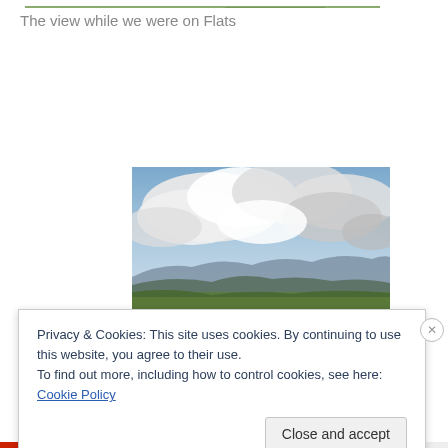[Figure (photo): Partial view of a landscape/nature photo at top of page, cropped]
The view while we were on Flats
[Figure (photo): Panoramic mountain view with dramatic cloudy sky and green rolling hills/mountains in background]
Privacy & Cookies: This site uses cookies. By continuing to use this website, you agree to their use.
To find out more, including how to control cookies, see here: Cookie Policy
Close and accept